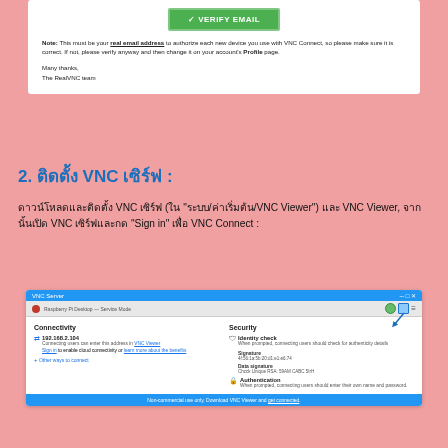[Figure (screenshot): Email verification card showing a green VERIFY EMAIL button and note text about real email address requirement for VNC Connect, signed by The RealVNC team]
2. ติดตั้ง VNC เซิร์ฟ :
ดาวน์โหลดและติดตั้ง VNC เซิร์ฟ (ใน "ระบบ/ค่าเริ่มต้น/VNC Viewer") และ VNC Viewer, จากนั้นเปิด VNC เซิร์ฟและกด "Sign in" เพื่อ VNC Connect :
[Figure (screenshot): VNC Server application window showing Connectivity section with IP 192.168.2.104 and Security section with Identity check, Signature, Data signature, and Authentication details. Blue arrow pointing to sign-in icon in top right.]